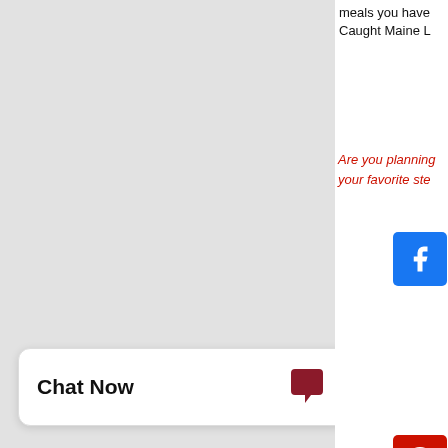[Figure (screenshot): Left gray panel showing a textured gray background, partial web page screenshot]
meals you have Caught Maine L
Are you planning your favorite ste
[Figure (screenshot): Social media sharing icons: Facebook, Twitter, red share button, Pinterest, email icons]
Leave Yo
| Name: |
| Email: |
| Comment: |
[Figure (screenshot): Chat Now widget with speech bubble icon]